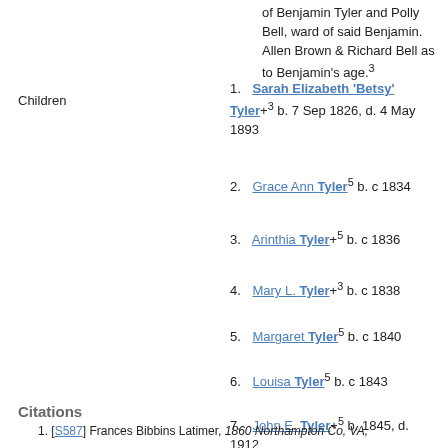of Benjamin Tyler and Polly Bell, ward of said Benjamin. Allen Brown & Richard Bell as to Benjamin's age.³
Children 1. Sarah Elizabeth 'Betsy' Tyler+³ b. 7 Sep 1826, d. 4 May 1893
2. Grace Ann Tyler⁵ b. c 1834
3. Arinthia Tyler+⁵ b. c 1836
4. Mary L. Tyler+³ b. c 1838
5. Margaret Tyler⁵ b. c 1840
6. Louisa Tyler⁵ b. c 1843
7. John E. Tyler+⁵ b. 1845, d. 1912
Citations
1. [S587] Frances Bibbins Latimer, 1860 Northampton Co, VA,